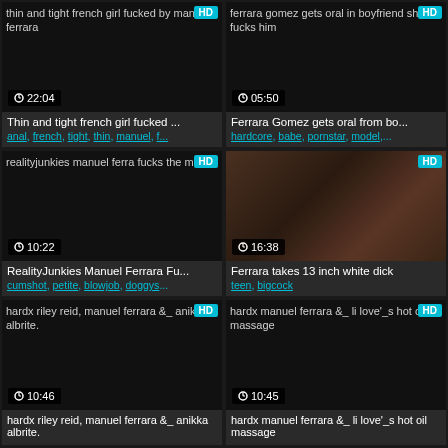[Figure (screenshot): Video thumbnail grid showing adult video website with 6 video cards in 2-column layout. Each card has a thumbnail image area, HD badge, duration, title, and tags.]
Thin and tight french girl fucked ... | anal, french, tight, thin, manuel, f...
Ferrara Gomez gets oral from bo... | hardcore, babe, pornstar, model,...
RealityJunkies Manuel Ferrara Fu... | cumshot, petite, blowjob, doggys...
Ferrara takes 13 inch white dick | teen, bigcock
hardx riley reid, manuel ferrara &_ anikka albrite. | HD
hardx manuel ferrara &_ li love'_s hot oil massage | HD